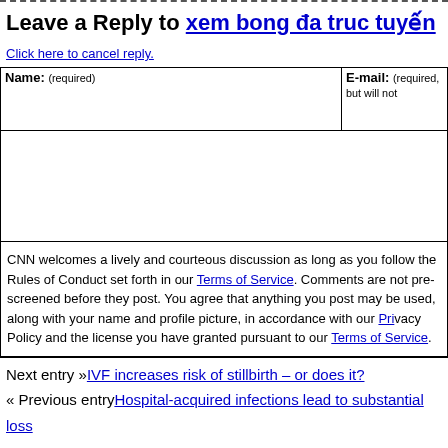Leave a Reply to xem bong đa truc tuyến
Click here to cancel reply.
| Name: (required) | E-mail: (required, but will not be shown) |
| --- | --- |
|  |  |
CNN welcomes a lively and courteous discussion as long as you follow the Rules of Conduct set forth in our Terms of Service. Comments are not pre-screened before they post. You agree that anything you post may be used, along with your name and profile picture, in accordance with our Privacy Policy and the license you have granted pursuant to our Terms of Service.
Next entry »IVF increases risk of stillbirth – or does it?
« Previous entryHospital-acquired infections lead to substantial loss